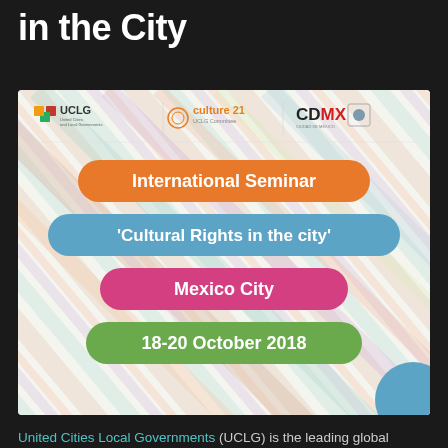in the City
[Figure (illustration): Event poster for International Seminar 'Cultural Rights in the city', Mexico City, 18-20 October 2018, organized by UCLG, Culture 21 UCLG Committee, and CDMX. Features colored diagonal stripes background with orange, blue, pink, and green pill-shaped labels.]
United Cities Local Governments (UCLG) is the leading global platform on culture and sustainable development. In addition to it's global forum, held